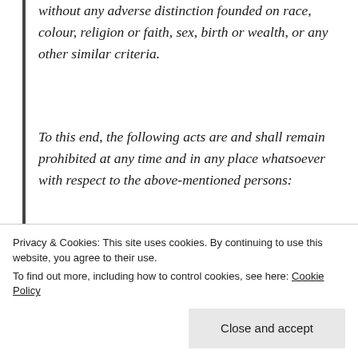without any adverse distinction founded on race, colour, religion or faith, sex, birth or wealth, or any other similar criteria.
To this end, the following acts are and shall remain prohibited at any time and in any place whatsoever with respect to the above-mentioned persons:
a) violence to life and person, in particular murder of all kinds, mutilation, cruel treatment and torture;
b) taking of hostages;
c) outrages upon personal dignity, in particular,
Privacy & Cookies: This site uses cookies. By continuing to use this website, you agree to their use.
To find out more, including how to control cookies, see here: Cookie Policy
Close and accept